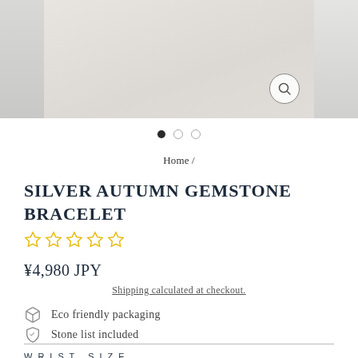[Figure (photo): Product image strip showing bracelet photographs across three panels with a magnify button on the center panel]
• • •  (carousel dots: first filled, second and third outline)
Home /
SILVER AUTUMN GEMSTONE BRACELET
[Figure (other): 5 star rating icons (empty/outline yellow stars)]
¥4,980 JPY
Shipping calculated at checkout.
Eco friendly packaging
Stone list included
WRIST SIZE